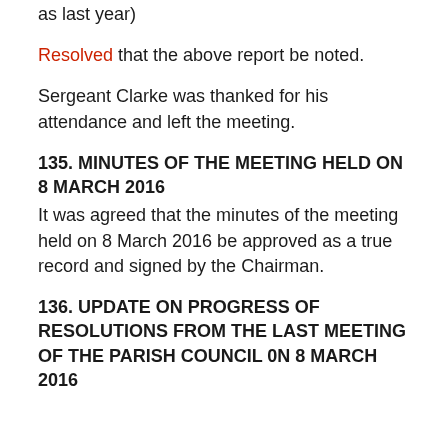as last year)
Resolved that the above report be noted.
Sergeant Clarke was thanked for his attendance and left the meeting.
135. MINUTES OF THE MEETING HELD ON 8 MARCH 2016
It was agreed that the minutes of the meeting held on 8 March 2016 be approved as a true record and signed by the Chairman.
136. UPDATE ON PROGRESS OF RESOLUTIONS FROM THE LAST MEETING OF THE PARISH COUNCIL 0N 8 MARCH 2016